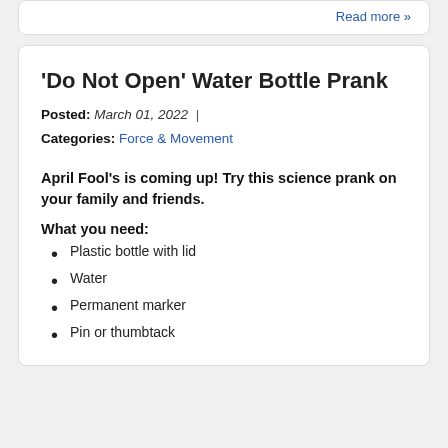Read more »
'Do Not Open' Water Bottle Prank
Posted: March 01, 2022 | Categories: Force & Movement
April Fool's is coming up! Try this science prank on your family and friends.
What you need:
Plastic bottle with lid
Water
Permanent marker
Pin or thumbtack